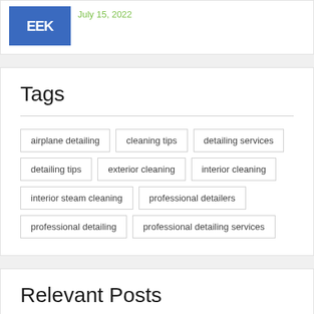[Figure (photo): Partial image showing letters EEK and a person in blue shirt, with date July 15, 2022 in green text]
Tags
airplane detailing
cleaning tips
detailing services
detailing tips
exterior cleaning
interior cleaning
interior steam cleaning
professional detailers
professional detailing
professional detailing services
Relevant Posts